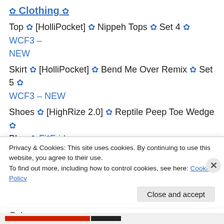✿ Clothing ✿
Top ✿ [HolliPocket] ✿ Nippeh Tops ✿ Set 4 ✿ WCF3 – NEW
Skirt ✿ [HolliPocket] ✿ Bend Me Over Remix ✿ Set 5 ✿ WCF3 – NEW
Shoes ✿ [HighRize 2.0] ✿ Reptile Peep Toe Wedge ✿ Blue ✿ Fi*Friday
Feet ✿ [Slink] ✿ Avatar Enhancement ✿ High – NEW
✿ Accessories ✿
Hairbow ✿ [TSG] ✿ Crowned Jewel Hairbow ✿ Color Champagne HUDfriend – NEW
Privacy & Cookies: This site uses cookies. By continuing to use this website, you agree to their use. To find out more, including how to control cookies, see here: Cookie Policy